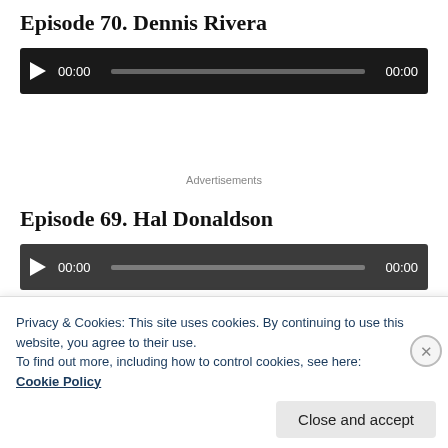Episode 70. Dennis Rivera
[Figure (screenshot): Audio player with dark background, play button, time display 00:00, progress bar, and end time 00:00]
Advertisements
Episode 69. Hal Donaldson
[Figure (screenshot): Audio player (partially visible) with dark background, play button, time display 00:00, progress bar, and end time 00:00]
Privacy & Cookies: This site uses cookies. By continuing to use this website, you agree to their use.
To find out more, including how to control cookies, see here:
Cookie Policy
Close and accept